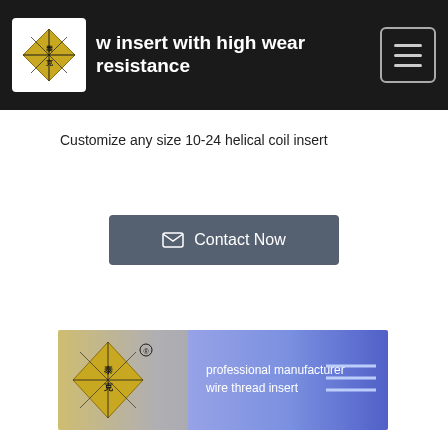w insert with high wear resistance
Customize any size 10-24 helical coil insert
Contact Now
[Figure (logo): Company banner with logo, text 'professional manufacturer wire thread insert', and decorative lines on blue-purple gradient background]